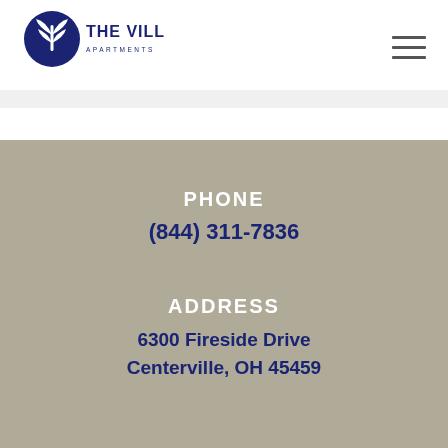[Figure (logo): The Villager Apartments logo with circular emblem featuring stylized leaf/plant design in navy blue, with text THE VILLAGER in bold navy and APARTMENTS in small caps below]
PHONE
(844) 311-7836
ADDRESS
6300 Fireside Drive Centerville, OH 45459